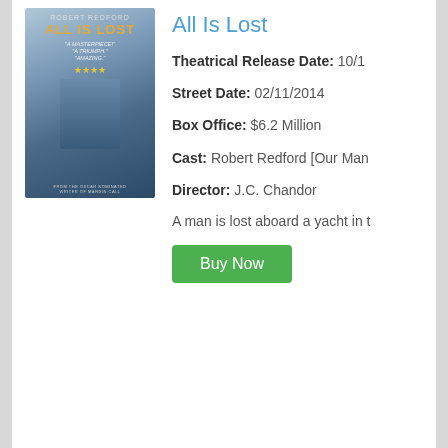All Is Lost
Theatrical Release Date: 10/1
Street Date: 02/11/2014
Box Office: $6.2 Million
Cast: Robert Redford [Our Man]
Director: J.C. Chandor
A man is lost aboard a yacht in t
[Figure (photo): Movie poster for All Is Lost featuring Robert Redford on a sailboat in a storm]
Star Trek Into Darkness
Theatrical Release Date: 05/1
Street Date: 09/10/2013
Box Office: $228.8 Million
Cast: Chris Pine [James T. Kirk]
Director: J.J. Abrams
[Figure (photo): Movie poster for Star Trek Into Darkness featuring Chris Pine and cast]